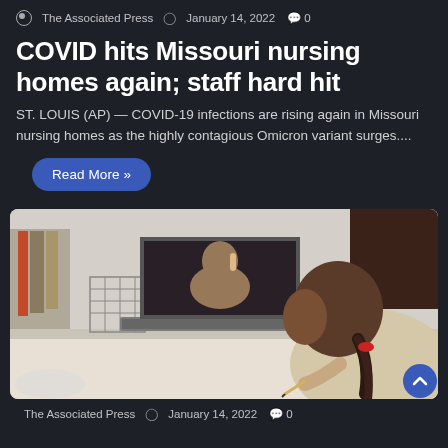The Associated Press  January 14, 2022  0
COVID hits Missouri nursing homes again; staff hard hit
ST. LOUIS (AP) — COVID-19 infections are rising again in Missouri nursing homes as the highly contagious Omicron variant surges....
Read More »
[Figure (photo): A young girl with a braided ponytail sits at a desk writing, viewing a video call on a laptop screen showing an adult holding something up.]
The Associated Press  January 14, 2022  0